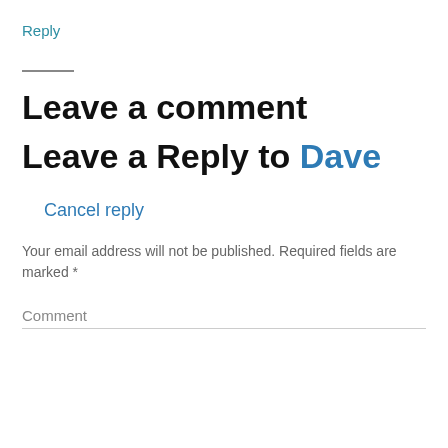Reply
Leave a comment
Leave a Reply to Dave
Cancel reply
Your email address will not be published. Required fields are marked *
Comment